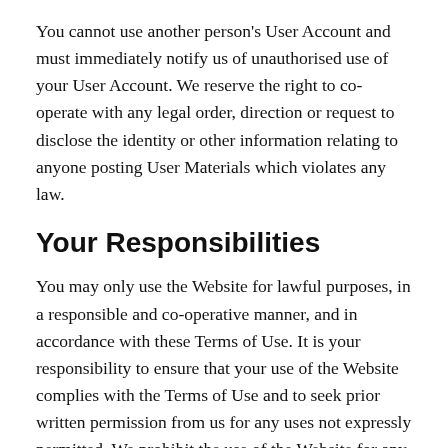You cannot use another person's User Account and must immediately notify us of unauthorised use of your User Account. We reserve the right to co-operate with any legal order, direction or request to disclose the identity or other information relating to anyone posting User Materials which violates any law.
Your Responsibilities
You may only use the Website for lawful purposes, in a responsible and co-operative manner, and in accordance with these Terms of Use. It is your responsibility to ensure that your use of the Website complies with the Terms of Use and to seek prior written permission from us for any uses not expressly permitted. We prohibit the use of the Website for any of the following: